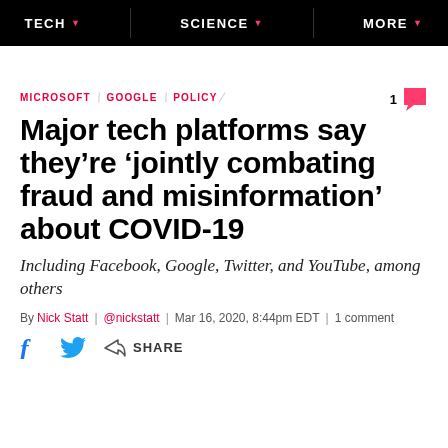TECH | SCIENCE | MORE
MICROSOFT \ GOOGLE \ POLICY
Major tech platforms say they’re ‘jointly combating fraud and misinformation’ about COVID-19
Including Facebook, Google, Twitter, and YouTube, among others
By Nick Statt | @nickstatt | Mar 16, 2020, 8:44pm EDT | 1 comment